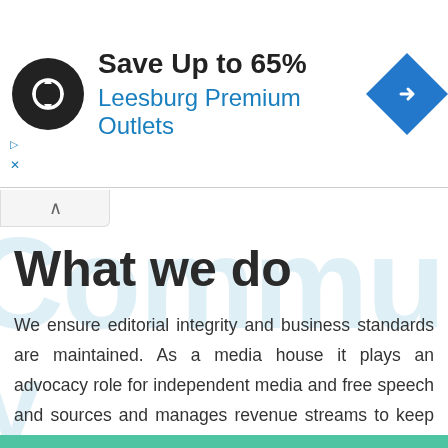[Figure (screenshot): Advertisement banner: circular black logo with white infinity-like arrows icon, headline 'Save Up to 65%', subheading 'Leesburg Premium Outlets' in blue, and a blue diamond-shaped navigation icon on the right. Ad label and close button at bottom-left.]
What we do
We ensure editorial integrity and business standards are maintained. As a media house it plays an advocacy role for independent media and free speech and sources and manages revenue streams to keep the network sustainable.